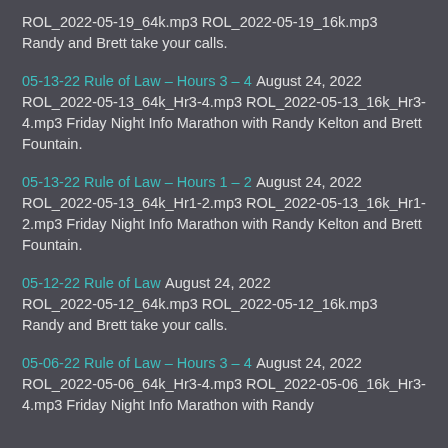ROL_2022-05-19_64k.mp3 ROL_2022-05-19_16k.mp3 Randy and Brett take your calls.
05-13-22 Rule of Law – Hours 3 – 4 August 24, 2022 ROL_2022-05-13_64k_Hr3-4.mp3 ROL_2022-05-13_16k_Hr3-4.mp3 Friday Night Info Marathon with Randy Kelton and Brett Fountain.
05-13-22 Rule of Law – Hours 1 – 2 August 24, 2022 ROL_2022-05-13_64k_Hr1-2.mp3 ROL_2022-05-13_16k_Hr1-2.mp3 Friday Night Info Marathon with Randy Kelton and Brett Fountain.
05-12-22 Rule of Law August 24, 2022 ROL_2022-05-12_64k.mp3 ROL_2022-05-12_16k.mp3 Randy and Brett take your calls.
05-06-22 Rule of Law – Hours 3 – 4 August 24, 2022 ROL_2022-05-06_64k_Hr3-4.mp3 ROL_2022-05-06_16k_Hr3-4.mp3 Friday Night Info Marathon with Randy